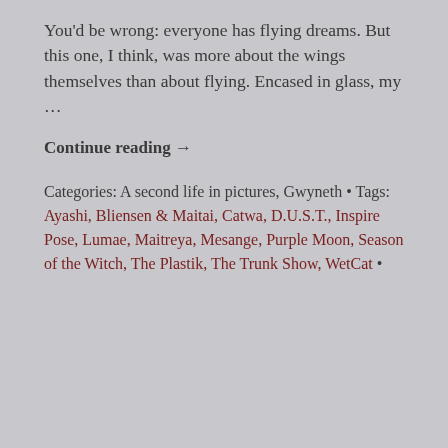You'd be wrong: everyone has flying dreams. But this one, I think, was more about the wings themselves than about flying. Encased in glass, my …
Continue reading →
Categories: A second life in pictures, Gwyneth • Tags: Ayashi, Bliensen & Maitai, Catwa, D.U.S.T., Inspire Pose, Lumae, Maitreya, Mesange, Purple Moon, Season of the Witch, The Plastik, The Trunk Show, WetCat •